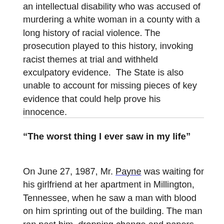an intellectual disability who was accused of murdering a white woman in a county with a long history of racial violence. The prosecution played to this history, invoking racist themes at trial and withheld exculpatory evidence.  The State is also unable to account for missing pieces of key evidence that could help prove his innocence.
“The worst thing I ever saw in my life”
On June 27, 1987, Mr. Payne was waiting for his girlfriend at her apartment in Millington, Tennessee, when he saw a man with blood on him sprinting out of the building. The man ran past him, dropping change and papers as he ran, a few of which Mr. Payne picked up before entering the building and checked his...